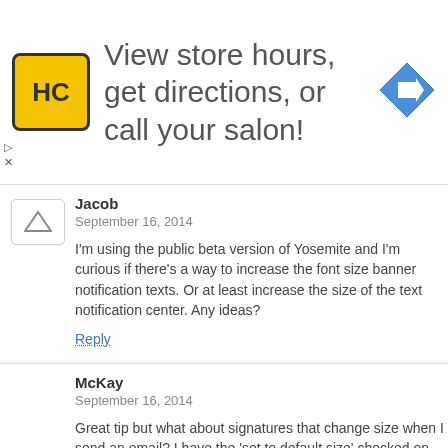[Figure (illustration): Advertisement banner: HC logo on yellow background, text 'View store hours, get directions, or call your salon!', blue diamond arrow icon on right]
Jacob
September 16, 2014

I'm using the public beta version of Yosemite and I'm curious if there's a way to increase the font size banner notification texts. Or at least increase the size of the text notification center. Any ideas?
Reply
McKay
September 16, 2014

Great tip but what about signatures that change size when I send an email? I have the ‘set to default size’ checked on the signature edit but it still seems to send my signature at a huge size vs the email text. Thanks
Reply
nah